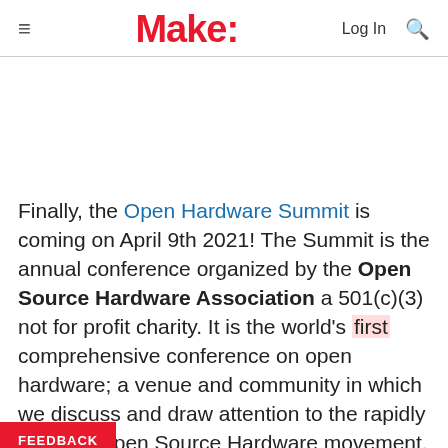Make:
[Figure (other): Advertisement/blank area]
Finally, the Open Hardware Summit is coming on April 9th 2021! The Summit is the annual conference organized by the Open Source Hardware Association a 501(c)(3) not for profit charity. It is the world's first comprehensive conference on open hardware; a venue and community in which we discuss and draw attention to the rapidly growing Open Source Hardware movement.